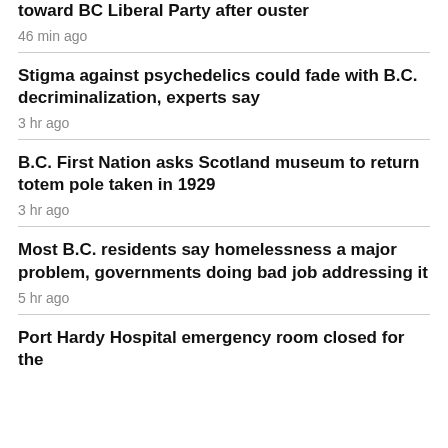toward BC Liberal Party after ouster
46 min ago
Stigma against psychedelics could fade with B.C. decriminalization, experts say
3 hr ago
B.C. First Nation asks Scotland museum to return totem pole taken in 1929
3 hr ago
Most B.C. residents say homelessness a major problem, governments doing bad job addressing it
5 hr ago
Port Hardy Hospital emergency room closed for the